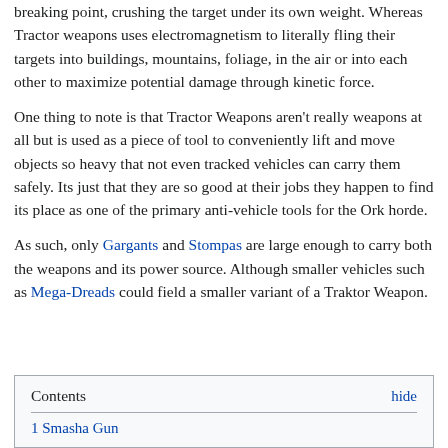breaking point, crushing the target under its own weight. Whereas Tractor weapons uses electromagnetism to literally fling their targets into buildings, mountains, foliage, in the air or into each other to maximize potential damage through kinetic force.
One thing to note is that Tractor Weapons aren't really weapons at all but is used as a piece of tool to conveniently lift and move objects so heavy that not even tracked vehicles can carry them safely. Its just that they are so good at their jobs they happen to find its place as one of the primary anti-vehicle tools for the Ork horde.
As such, only Gargants and Stompas are large enough to carry both the weapons and its power source. Although smaller vehicles such as Mega-Dreads could field a smaller variant of a Traktor Weapon.
| Contents | hide |
| --- | --- |
| 1 Smasha Gun |  |